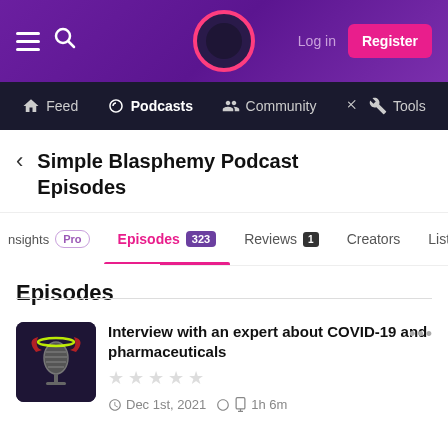Log in  Register
Feed  Podcasts  Community  Tools
Simple Blasphemy Podcast Episodes
Insights  Pro  Episodes 323  Reviews 1  Creators  Lists
Episodes
Interview with an expert about COVID-19 and pharmaceuticals
Dec 1st, 2021  1h 6m